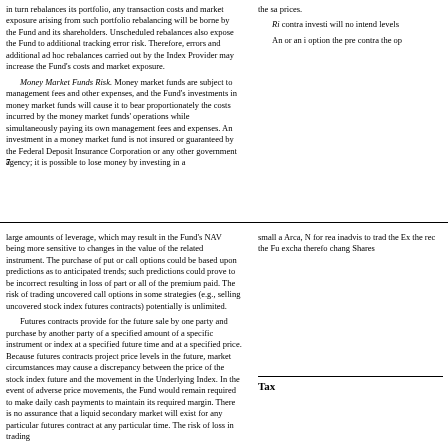in turn rebalances its portfolio, any transaction costs and market exposure arising from such portfolio rebalancing will be borne by the Fund and its shareholders. Unscheduled rebalances also expose the Fund to additional tracking error risk. Therefore, errors and additional ad hoc rebalances carried out by the Index Provider may increase the Fund's costs and market exposure.
Money Market Funds Risk. Money market funds are subject to management fees and other expenses, and the Fund's investments in money market funds will cause it to bear proportionately the costs incurred by the money market funds' operations while simultaneously paying its own management fees and expenses. An investment in a money market fund is not insured or guaranteed by the Federal Deposit Insurance Corporation or any other government agency; it is possible to lose money by investing in a
7
the sa prices.
Ri contra investi will no intend levels
An or an i option the pre contra the op
large amounts of leverage, which may result in the Fund's NAV being more sensitive to changes in the value of the related instrument. The purchase of put or call options could be based upon predictions as to anticipated trends; such predictions could prove to be incorrect resulting in loss of part or all of the premium paid. The risk of trading uncovered call options in some strategies (e.g., selling uncovered stock index futures contracts) potentially is unlimited.
Futures contracts provide for the future sale by one party and purchase by another party of a specified amount of a specific instrument or index at a specified future time and at a specified price. Because futures contracts project price levels in the future, market circumstances may cause a discrepancy between the price of the stock index future and the movement in the Underlying Index. In the event of adverse price movements, the Fund would remain required to make daily cash payments to maintain its required margin. There is no assurance that a liquid secondary market will exist for any particular futures contract at any particular time. The risk of loss in trading
small a Arca, N for rea inadvis to trad the Ex the rec the Fu excha therefo chang Shares
Tax